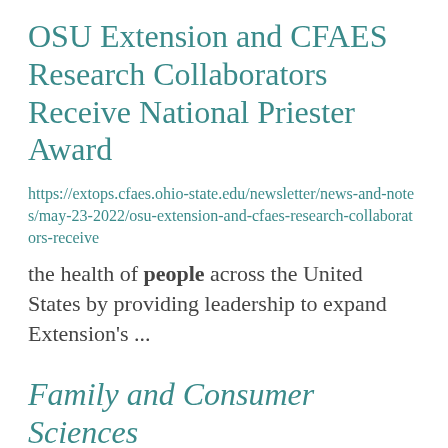OSU Extension and CFAES Research Collaborators Receive National Priester Award
https://extops.cfaes.ohio-state.edu/newsletter/news-and-notes/may-23-2022/osu-extension-and-cfaes-research-collaborators-receive
the health of people across the United States by providing leadership to expand Extension's ...
Family and Consumer Sciences
https://montgomery.osu.edu/program-areas/family-and-consumer-sciences
(Sustainable Action through Video Engagement) video series. This vid